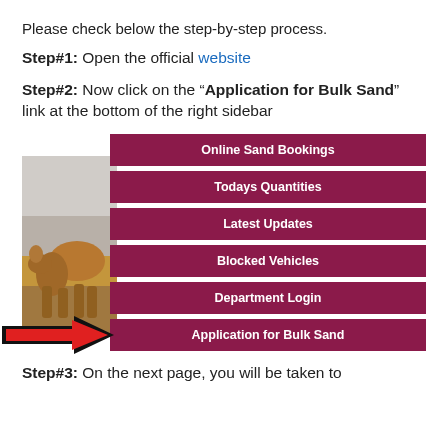Please check below the step-by-step process.
Step#1: Open the official website
Step#2: Now click on the “Application for Bulk Sand” link at the bottom of the right sidebar
[Figure (screenshot): Screenshot of a website sidebar showing menu buttons: Online Sand Bookings, Todays Quantities, Latest Updates, Blocked Vehicles, Department Login, Application for Bulk Sand (with a red and black arrow pointing to it). A partial image of a camel is visible on the left side.]
Step#3: On the next page, you will be taken to